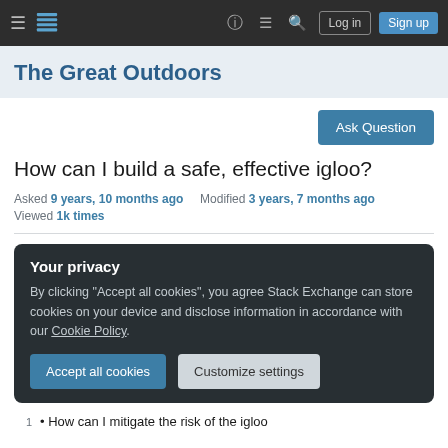The Great Outdoors — Stack Exchange navigation bar with Log in and Sign up buttons
The Great Outdoors
Ask Question
How can I build a safe, effective igloo?
Asked 9 years, 10 months ago   Modified 3 years, 7 months ago   Viewed 1k times
Your privacy
By clicking "Accept all cookies", you agree Stack Exchange can store cookies on your device and disclose information in accordance with our Cookie Policy.
Accept all cookies   Customize settings
How can I mitigate the risk of the igloo